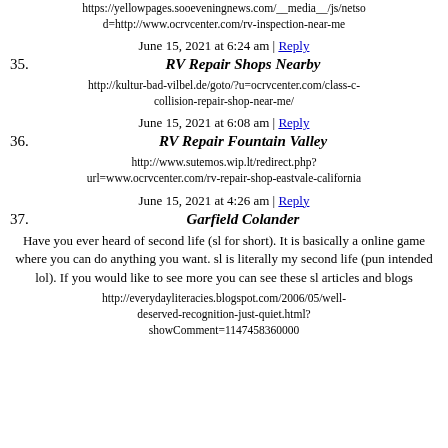https://yellowpages.sooeveningnews.com/__media__/js/netsol?d=http://www.ocrvcenter.com/rv-inspection-near-me
June 15, 2021 at 6:24 am | Reply
35. RV Repair Shops Nearby
http://kultur-bad-vilbel.de/goto/?u=ocrvcenter.com/class-c-collision-repair-shop-near-me/
June 15, 2021 at 6:08 am | Reply
36. RV Repair Fountain Valley
http://www.sutemos.wip.lt/redirect.php?url=www.ocrvcenter.com/rv-repair-shop-eastvale-california
June 15, 2021 at 4:26 am | Reply
37. Garfield Colander
Have you ever heard of second life (sl for short). It is basically a online game where you can do anything you want. sl is literally my second life (pun intended lol). If you would like to see more you can see these sl articles and blogs
http://everydayliteracies.blogspot.com/2006/05/well-deserved-recognition-just-quiet.html?showComment=1147458360000